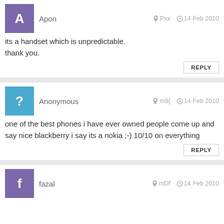Apon — Pxx — 14 Feb 2010 — its a handset which is unpredictable. thank you.
Anonymous — m9{ — 14 Feb 2010 — one of the best phones i have ever owned people come up and say nice blackberry i say its a nokia ;-) 10/10 on everything
fazal — mDf — 14 Feb 2010